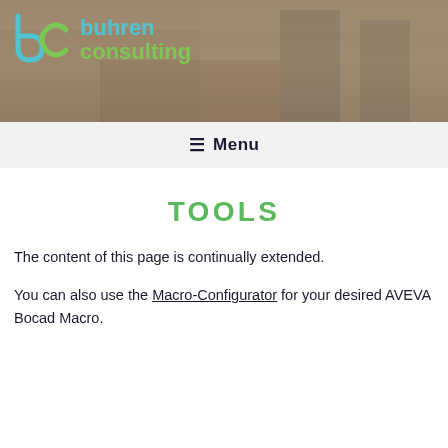[Figure (photo): Header banner with office/meeting room background photo showing chairs around a table, overlaid with buhren consulting logo (bc monogram in blue/green, text 'buhren' in cyan and 'consulting' in green)]
☰ Menu
TOOLS
The content of this page is continually extended.
You can also use the Macro-Configurator for your desired AVEVA Bocad Macro.